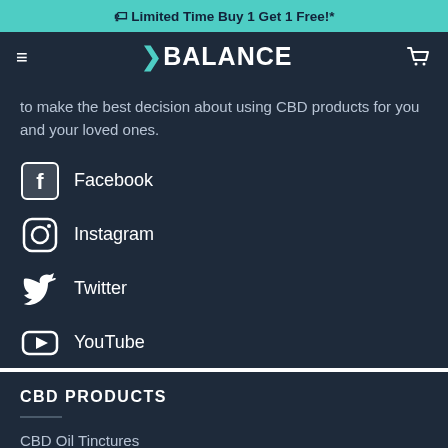🏷 Limited Time Buy 1 Get 1 Free!*
≡ ❯BALANCE 🛒
to make the best decision about using CBD products for you and your loved ones.
Facebook
Instagram
Twitter
YouTube
CBD PRODUCTS
CBD Oil Tinctures